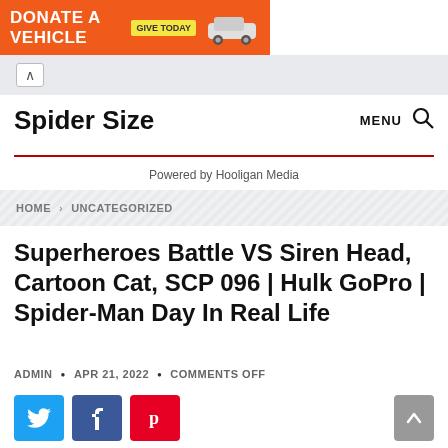[Figure (other): Advertisement banner: orange background with text DONATE A VEHICLE, GIVE TODAY button, and car image]
Spider Size   MENU 🔍
Powered by Hooligan Media
HOME > UNCATEGORIZED
Superheroes Battle VS Siren Head, Cartoon Cat, SCP 096 | Hulk GoPro | Spider-Man Day In Real Life
ADMIN • APR 21, 2022 • COMMENTS OFF